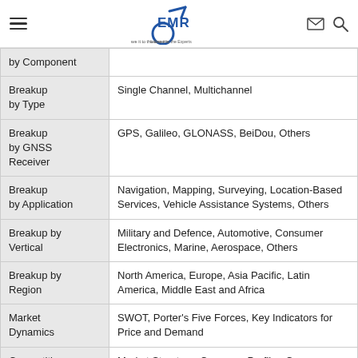EMR - Leave it to the Experts
| Category | Details |
| --- | --- |
| Breakup by Component |  |
| Breakup by Type | Single Channel, Multichannel |
| Breakup by GNSS Receiver | GPS, Galileo, GLONASS, BeiDou, Others |
| Breakup by Application | Navigation, Mapping, Surveying, Location-Based Services, Vehicle Assistance Systems, Others |
| Breakup by Vertical | Military and Defence, Automotive, Consumer Electronics, Marine, Aerospace, Others |
| Breakup by Region | North America, Europe, Asia Pacific, Latin America, Middle East and Africa |
| Market Dynamics | SWOT, Porter's Five Forces, Key Indicators for Price and Demand |
| Competitive Landscape | Market Structure, Company Profiles-Company Overview, Product Portfolio, |